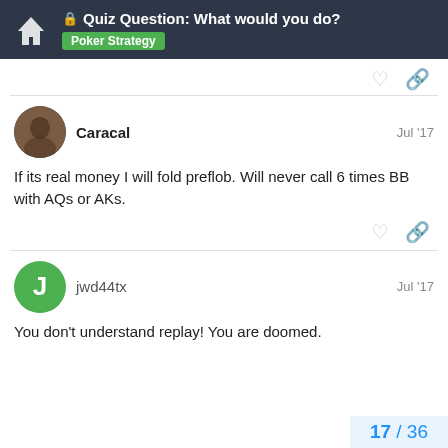Quiz Question: What would you do? — Poker Strategy
Caracal — Jul '17
If its real money I will fold preflob. Will never call 6 times BB with AQs or AKs.
jwd44tx — Jul '17
You don't understand replay! You are doomed.
17 / 36